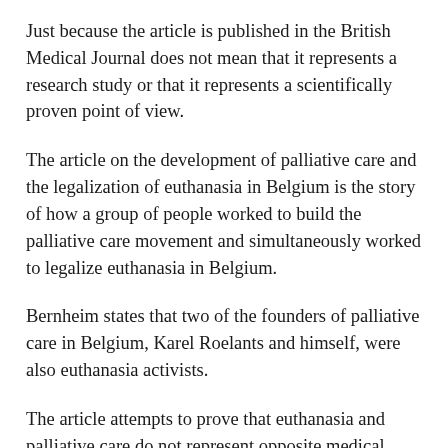Just because the article is published in the British Medical Journal does not mean that it represents a research study or that it represents a scientifically proven point of view.
The article on the development of palliative care and the legalization of euthanasia in Belgium is the story of how a group of people worked to build the palliative care movement and simultaneously worked to legalize euthanasia in Belgium.
Bernheim states that two of the founders of palliative care in Belgium, Karel Roelants and himself, were also euthanasia activists.
The article attempts to prove that euthanasia and palliative care do not represent opposite medical models and both models can work effectively together.
The real purpose for the article appears to be the story of how certain members of the euthanasia movement in Belgium were able to co-opt the palliative care movement by taking it outside of its natural roots and making it a model for